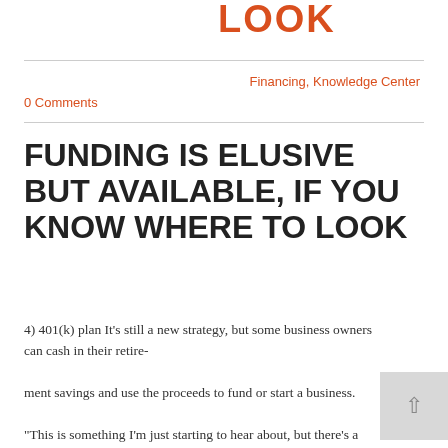LOOK
Financing, Knowledge Center
0 Comments
FUNDING IS ELUSIVE BUT AVAILABLE, IF YOU KNOW WHERE TO LOOK
4) 401(k) plan It's still a new strategy, but some business owners can cash in their retire-
ment savings and use the proceeds to fund or start a business.
"This is something I'm just starting to hear about, but there's a whole population out